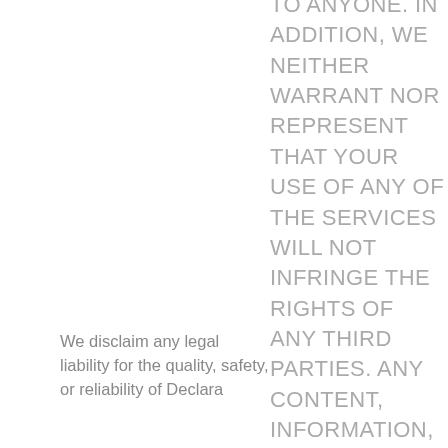TO ANYONE. IN ADDITION, WE NEITHER WARRANT NOR REPRESENT THAT YOUR USE OF ANY OF THE SERVICES WILL NOT INFRINGE THE RIGHTS OF ANY THIRD PARTIES. ANY CONTENT, INFORMATION, MATERIAL,
We disclaim any legal liability for the quality, safety, or reliability of Declara...